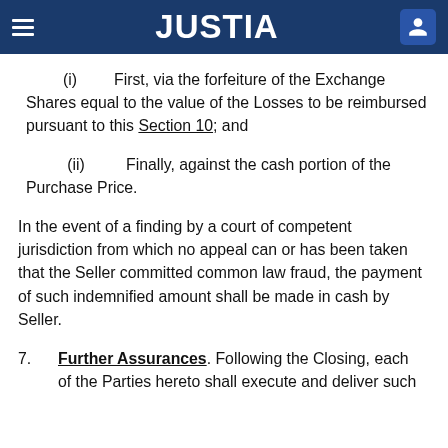JUSTIA
(i)   First, via the forfeiture of the Exchange Shares equal to the value of the Losses to be reimbursed pursuant to this Section 10; and
(ii)   Finally, against the cash portion of the Purchase Price.
In the event of a finding by a court of competent jurisdiction from which no appeal can or has been taken that the Seller committed common law fraud, the payment of such indemnified amount shall be made in cash by Seller.
7.   Further Assurances. Following the Closing, each of the Parties hereto shall execute and deliver such